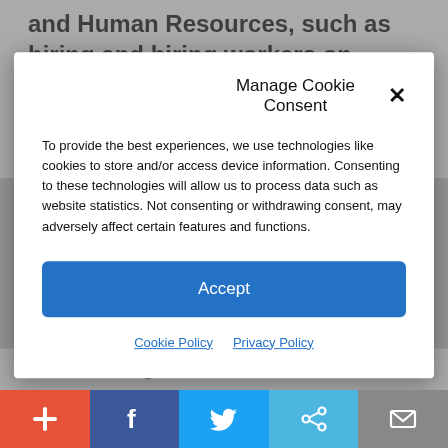and Human Resources, such as hiring and hiring workers on campus. But as negotiations between labor and corporate America rarely are an easy
Manage Cookie Consent
To provide the best experiences, we use technologies like cookies to store and/or access device information. Consenting to these technologies will allow us to process data such as website statistics. Not consenting or withdrawing consent, may adversely affect certain features and functions.
Accept
Cookie Policy   Privacy Policy
to roll, daring the Dems to cross it.